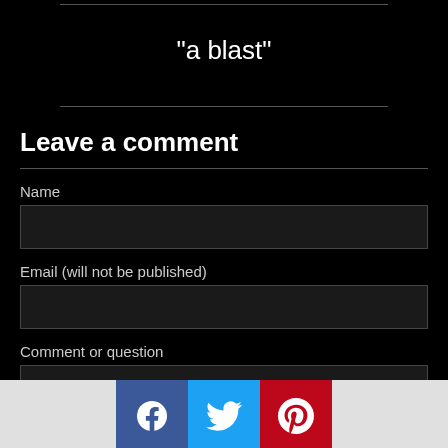"a blast"
Leave a comment
Name
Email (will not be published)
Comment or question
[Figure (infographic): Social sharing bar with Facebook, Twitter, and Pinterest icons]